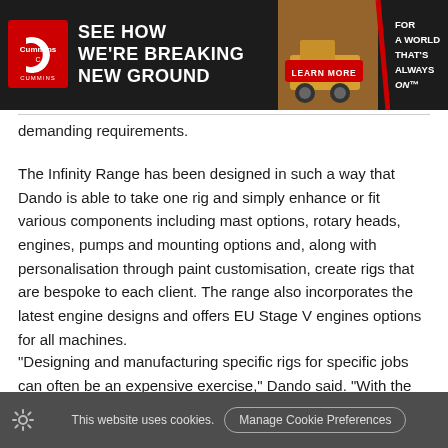[Figure (other): Cummins advertisement banner: black background with Cummins logo, bold white text 'SEE HOW WE'RE BREAKING NEW GROUND', image of yellow mining dump truck in dusty terrain, red 'LEARN MORE' button, and right panel text 'FOR A WORLD THAT'S ALWAYS ON' with red diagonal stripe.]
demanding requirements.
The Infinity Range has been designed in such a way that Dando is able to take one rig and simply enhance or fit various components including mast options, rotary heads, engines, pumps and mounting options and, along with personalisation through paint customisation, create rigs that are bespoke to each client. The range also incorporates the latest engine designs and offers EU Stage V engines options for all machines.
“Designing and manufacturing specific rigs for specific jobs can often be an expensive exercise,” Dando said. “With the
This website uses cookies.  Manage Cookie Preferences